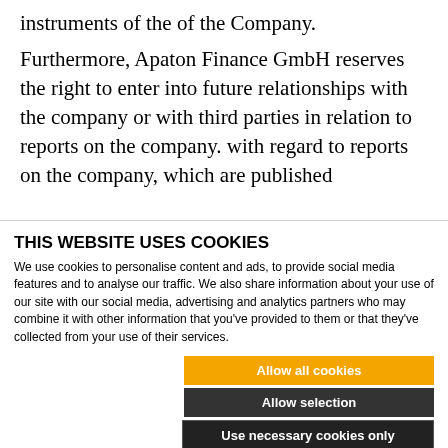instruments of the of the Company.
Furthermore, Apaton Finance GmbH reserves the right to enter into future relationships with the company or with third parties in relation to reports on the company. with regard to reports on the company, which are published
THIS WEBSITE USES COOKIES
We use cookies to personalise content and ads, to provide social media features and to analyse our traffic. We also share information about your use of our site with our social media, advertising and analytics partners who may combine it with other information that you've provided to them or that they've collected from your use of their services.
Allow all cookies
Allow selection
Use necessary cookies only
Necessary   Preferences   Statistics   Show details   Marketing